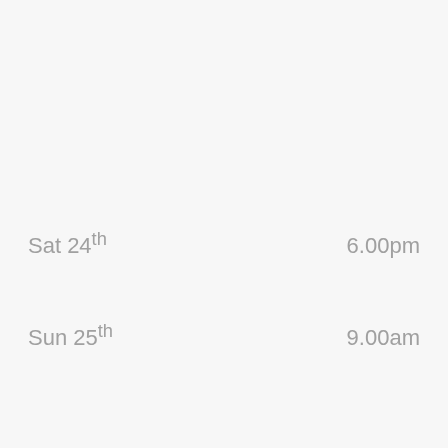Sat 24th    6.00pm
Sun 25th    9.00am